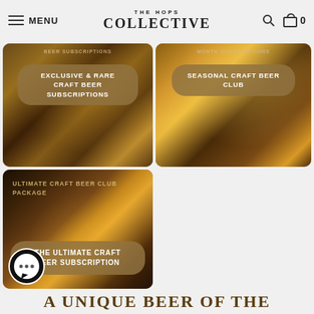MENU | THE HOPS COLLECTIVE | Search | Cart 0
[Figure (photo): Dark craft beer photo with hops and grain, card label 'BEER SUBSCRIPTIONS' at top, badge overlay reading 'EXCLUSIVE & RARE CRAFT BEER SUBSCRIPTIONS']
[Figure (photo): Craft beer mugs photo with card label 'MONTH SUBSCRIPTIONS' at top, badge overlay reading 'SEASONAL CRAFT BEER CLUB']
[Figure (photo): Multiple craft beer glasses on tray photo, title overlay 'ULTIMATE CRAFT BEER CLUB PACKAGE', badge overlay reading 'THE ULTIMATE CRAFT BEER SUBSCRIPTION']
A UNIQUE BEER OF THE